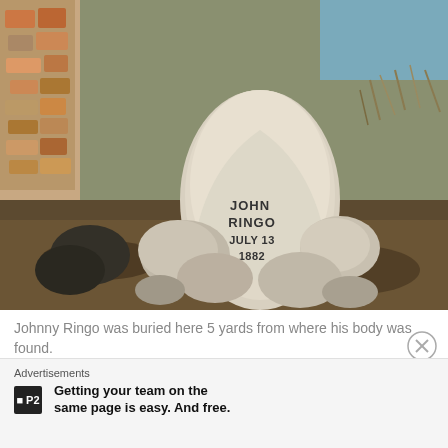[Figure (photo): Photograph of Johnny Ringo's grave marker — a large white rock with the inscription 'JOHN RINGO JULY 13 1882' surrounded by other rocks, set in a dry outdoor landscape with shrubs and a stone wall partially visible.]
Johnny Ringo was buried here 5 yards from where his body was found.
The history of the Old West can find little reason why Johnny Ringo is remembered as a gunfighter in
Advertisements
Getting your team on the same page is easy. And free.